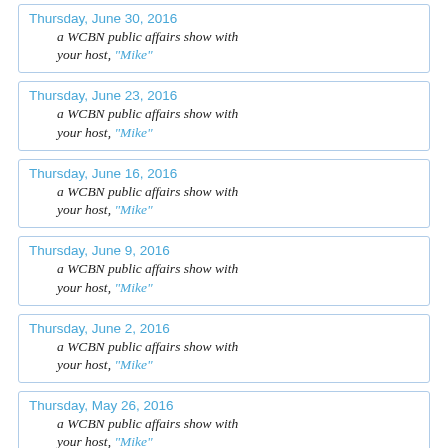Thursday, June 30, 2016 — a WCBN public affairs show with your host, "Mike"
Thursday, June 23, 2016 — a WCBN public affairs show with your host, "Mike"
Thursday, June 16, 2016 — a WCBN public affairs show with your host, "Mike"
Thursday, June 9, 2016 — a WCBN public affairs show with your host, "Mike"
Thursday, June 2, 2016 — a WCBN public affairs show with your host, "Mike"
Thursday, May 26, 2016 — a WCBN public affairs show with your host, "Mike"